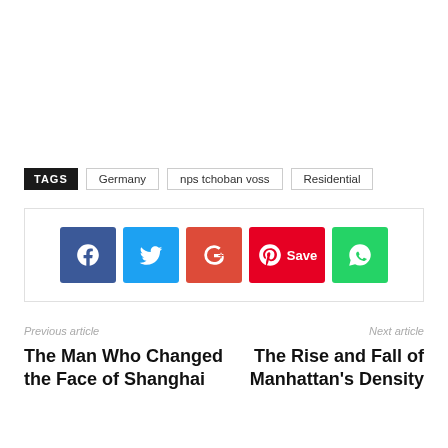TAGS  Germany  nps tchoban voss  Residential
[Figure (other): Social share buttons: Facebook, Twitter, Google+, Pinterest Save, WhatsApp]
Previous article
The Man Who Changed the Face of Shanghai
Next article
The Rise and Fall of Manhattan's Density